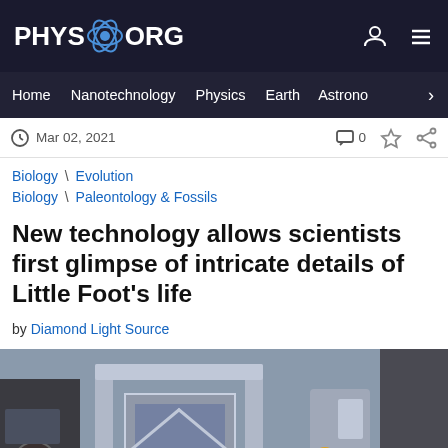PHYS.ORG
Home | Nanotechnology | Physics | Earth | Astronomy
Mar 02, 2021
Biology \ Evolution
Biology \ Paleontology & Fossils
New technology allows scientists first glimpse of intricate details of Little Foot's life
by Diamond Light Source
[Figure (photo): Laboratory equipment photo showing scientific machinery with metal framing and industrial components]